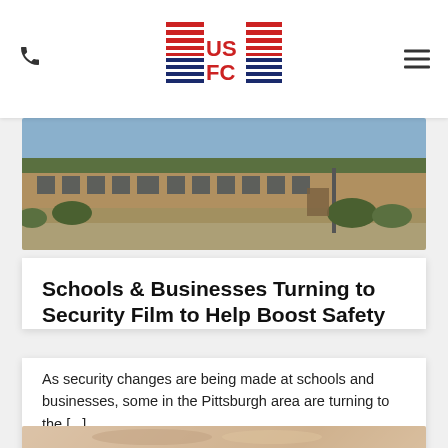USFC logo with phone icon and hamburger menu
[Figure (photo): Exterior photo of a school building with trees and parking lot]
Schools & Businesses Turning to Security Film to Help Boost Safety
As security changes are being made at schools and businesses, some in the Pittsburgh area are turning to the [...]
[Figure (photo): Blurred photo, partially visible at bottom of page]